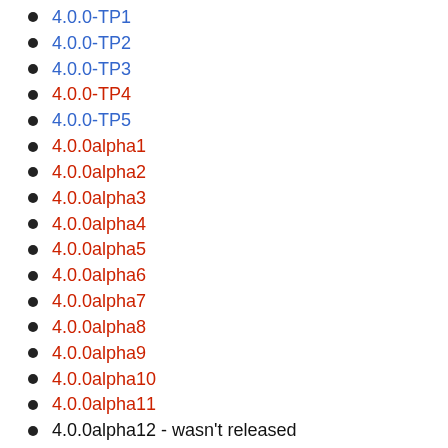4.0.0-TP1
4.0.0-TP2
4.0.0-TP3
4.0.0-TP4
4.0.0-TP5
4.0.0alpha1
4.0.0alpha2
4.0.0alpha3
4.0.0alpha4
4.0.0alpha5
4.0.0alpha6
4.0.0alpha7
4.0.0alpha8
4.0.0alpha9
4.0.0alpha10
4.0.0alpha11
4.0.0alpha12 - wasn't released
4.0.0alpha13
4.0.0alpha14
4.0.0alpha15